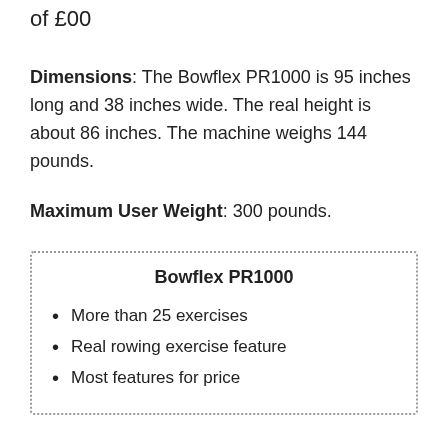of £00
Dimensions: The Bowflex PR1000 is 95 inches long and 38 inches wide. The real height is about 86 inches. The machine weighs 144 pounds.
Maximum User Weight: 300 pounds.
Bowflex PR1000
More than 25 exercises
Real rowing exercise feature
Most features for price